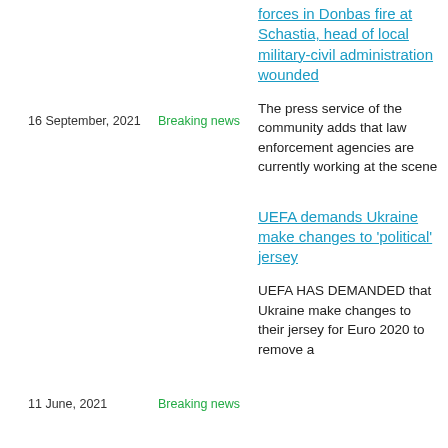forces in Donbas fire at Schastia, head of local military-civil administration wounded
16 September, 2021
Breaking news
The press service of the community adds that law enforcement agencies are currently working at the scene
UEFA demands Ukraine make changes to 'political' jersey
11 June, 2021
Breaking news
UEFA HAS DEMANDED that Ukraine make changes to their jersey for Euro 2020 to remove a